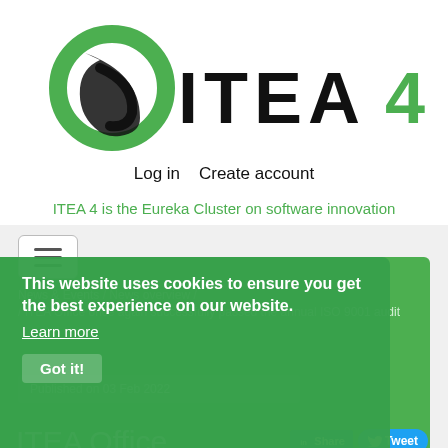[Figure (logo): ITEA 4 logo with green circular swoosh graphic and bold ITEA 4 text]
Log in   Create account
ITEA 4 is the Eureka Cluster on software innovation
This website uses cookies to ensure you get the best experience on our website.
Learn more
Got it!
News & Events / News overview / ITEA Office once again successfully passed the annual ISO 9001 audit
Published on 03 Feb 2022
ITEA Office